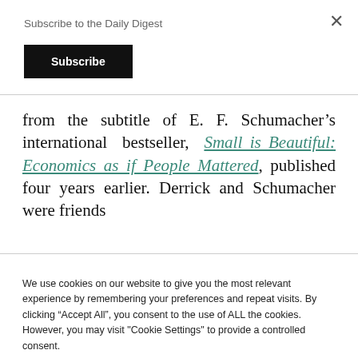Subscribe to the Daily Digest
Subscribe
from the subtitle of E. F. Schumacher’s international bestseller, Small is Beautiful: Economics as if People Mattered, published four years earlier. Derrick and Schumacher were friends
We use cookies on our website to give you the most relevant experience by remembering your preferences and repeat visits. By clicking “Accept All”, you consent to the use of ALL the cookies. However, you may visit "Cookie Settings" to provide a controlled consent.
Cookie Settings
Accept All